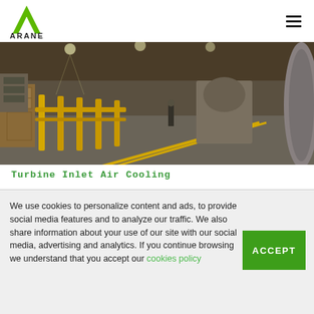ARANER
[Figure (photo): Industrial warehouse/factory floor with yellow guard rails and posts, workers visible in the background, large turbine or industrial equipment parts visible, overhead lighting illuminating the long corridor]
Turbine Inlet Air Cooling
We use cookies to personalize content and ads, to provide social media features and to analyze our traffic. We also share information about your use of our site with our social media, advertising and analytics. If you continue browsing we understand that you accept our cookies policy